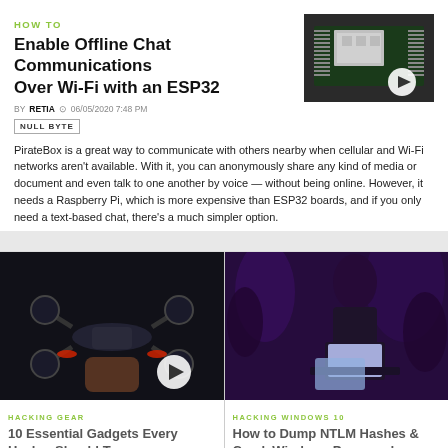HOW TO
Enable Offline Chat Communications Over Wi-Fi with an ESP32
BY RETIA  06/05/2020 7:48 PM
NULL BYTE
[Figure (photo): Photo of an ESP32 microcontroller board with a play button overlay]
PirateBox is a great way to communicate with others nearby when cellular and Wi-Fi networks aren't available. With it, you can anonymously share any kind of media or document and even talk to one another by voice — without being online. However, it needs a Raspberry Pi, which is more expensive than ESP32 boards, and if you only need a text-based chat, there's a much simpler option.
[Figure (photo): Dark photo of a drone (DJI Spark) being held with play button overlay]
[Figure (photo): Dark photo of people at laptops at a hacking event with purple lighting]
HACKING GEAR
10 Essential Gadgets Every Hacker Should Try
HACKING WINDOWS 10
How to Dump NTLM Hashes & Crack Windows Passwords